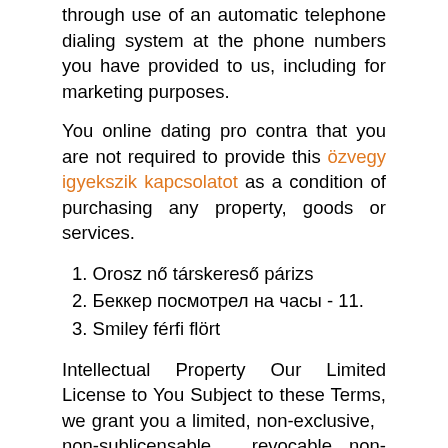through use of an automatic telephone dialing system at the phone numbers you have provided to us, including for marketing purposes.
You online dating pro contra that you are not required to provide this özvegy igyekszik kapcsolatot as a condition of purchasing any property, goods or services.
1. Orosz nő társkereső párizs
2. Беккер посмотрел на часы - 11.
3. Smiley férfi flört
Intellectual Property Our Limited License to You Subject to these Terms, we grant you a limited, non-exclusive, non-sublicensable, revocable, non-transferable license to access and use the App and our related software and services on your personal device solely for your use of our Services.